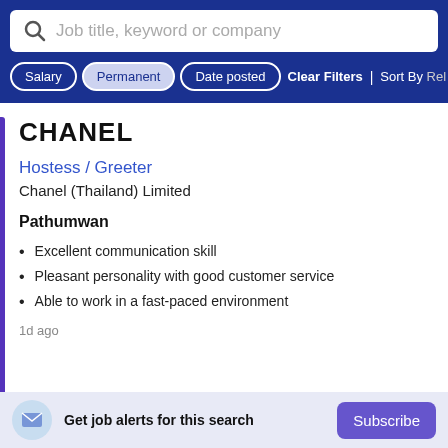[Figure (screenshot): Search bar with placeholder text 'Job title, keyword or company']
Salary | Permanent | Date posted | Clear Filters | Sort By Rel
CHANEL
Hostess / Greeter
Chanel (Thailand) Limited
Pathumwan
Excellent communication skill
Pleasant personality with good customer service
Able to work in a fast-paced environment
1d ago
Get job alerts for this search  Subscribe